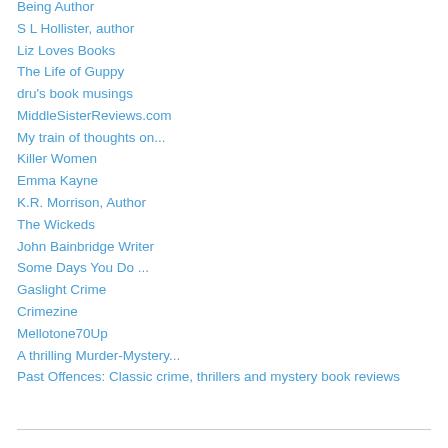Being Author
S L Hollister, author
Liz Loves Books
The Life of Guppy
dru's book musings
MiddleSisterReviews.com
My train of thoughts on...
Killer Women
Emma Kayne
K.R. Morrison, Author
The Wickeds
John Bainbridge Writer
Some Days You Do ...
Gaslight Crime
Crimezine
Mellotone70Up
A thrilling Murder-Mystery...
Past Offences: Classic crime, thrillers and mystery book reviews